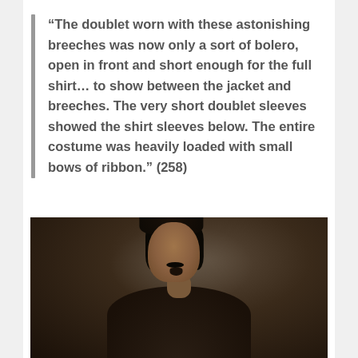“The doublet worn with these astonishing breeches was now only a sort of bolero, open in front and short enough for the full shirt… to show between the jacket and breeches. The very short doublet sleeves showed the shirt sleeves below. The entire costume was heavily loaded with small bows of ribbon.” (258)
[Figure (photo): A dark oil painting portrait of a man with curly dark hair, mustache and small beard, painted in the style of old masters (likely 17th century Spanish). The background is dark and smoky. The figure appears from the shoulders up.]